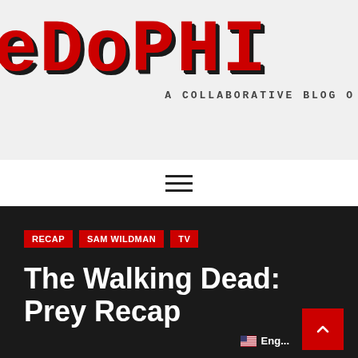[Figure (logo): Pixel/retro style blog logo text reading 'EDOPHI' (partial, cropped) in red with dark drop shadow, followed by subtitle 'A COLLABORATIVE BLOG' in monospace]
A COLLABORATIVE BLOG O
≡ (hamburger menu icon)
RECAP
SAM WILDMAN
TV
The Walking Dead: Prey Recap
MARCH 17, 2013   SAM WILDMAN